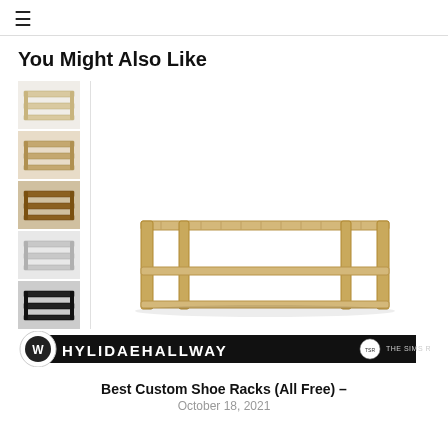≡
You Might Also Like
[Figure (photo): A wooden shoe rack bench with light oak finish, shown with five color variant thumbnails on the left side (light natural, medium tan, dark brown, white/grey, and black), and a promotional banner at the bottom reading HYLIDAEHALLWAY / THE SIMS RESOURCE with a logo icon.]
Best Custom Shoe Racks (All Free) –
October 18, 2021